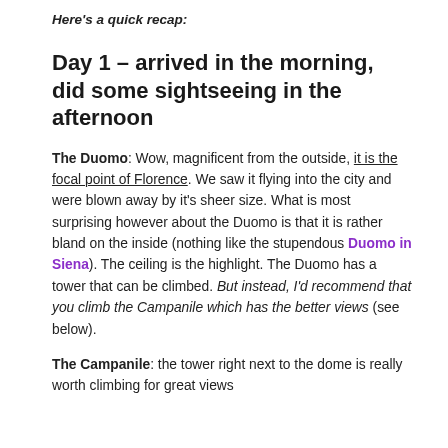Here's a quick recap:
Day 1 – arrived in the morning, did some sightseeing in the afternoon
The Duomo: Wow, magnificent from the outside, it is the focal point of Florence. We saw it flying into the city and were blown away by it's sheer size. What is most surprising however about the Duomo is that it is rather bland on the inside (nothing like the stupendous Duomo in Siena). The ceiling is the highlight. The Duomo has a tower that can be climbed. But instead, I'd recommend that you climb the Campanile which has the better views (see below).
The Campanile: the tower right next to the dome is really worth climbing for great views